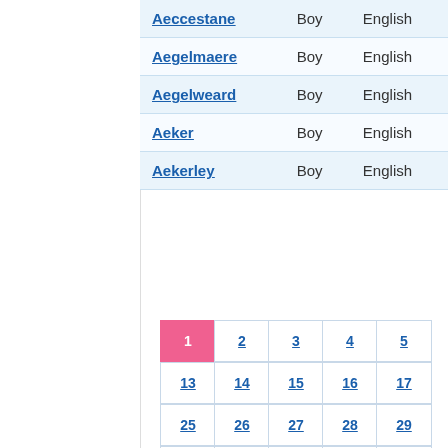| Name | Gender | Origin |
| --- | --- | --- |
| Aeccestane | Boy | English |
| Aegelmaere | Boy | English |
| Aegelweard | Boy | English |
| Aeker | Boy | English |
| Aekerley | Boy | English |
Pagination: 1(active), 2, 3, 4, 5, 13, 14, 15, 16, 17, 25, 26, 27, 28, 29, 37, 38, 39, 40, 41, 49, 50, 51, 52, 53, 61, 62, 63, 64, 65, 73, 74, 75, 76, 77, 85, 86, 87, 88, 89, 97, 98, 99, 100, 101, 109, 110, 111, 112, 113